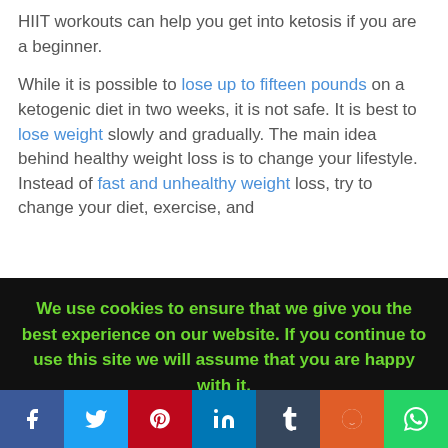HIIT workouts can help you get into ketosis if you are a beginner.
While it is possible to lose up to fifteen pounds on a ketogenic diet in two weeks, it is not safe. It is best to lose weight slowly and gradually. The main idea behind healthy weight loss is to change your lifestyle. Instead of fast and unhealthy weight loss, try to change your diet, exercise, and
We use cookies to ensure that we give you the best experience on our website. If you continue to use this site we will assume that you are happy with it.
f  t  p  in  t  reddit  whatsapp